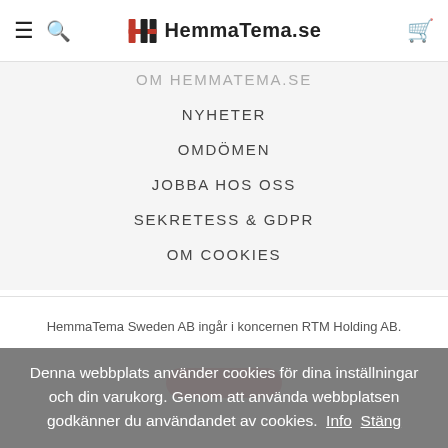HemmaTema.se
OM HEMMATEMA.SE
NYHETER
OMDÖMEN
JOBBA HOS OSS
SEKRETESS & GDPR
OM COOKIES
HemmaTema Sweden AB ingår i koncernen RTM Holding AB.
Denna webbplats använder cookies för dina inställningar och din varukorg. Genom att använda webbplatsen godkänner du användandet av cookies. Info Stäng